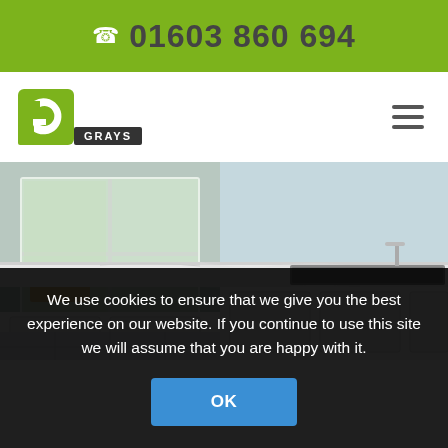☎ 01603 860 694
[Figure (logo): Grays kitchen company logo — green square G icon with GRAYS text below in dark background]
[Figure (photo): Kitchen interior showing white cabinets with chrome handles, marble/stone countertop with undermount stainless steel sink, faucet, and a patio door in background with outdoor furniture visible]
We use cookies to ensure that we give you the best experience on our website. If you continue to use this site we will assume that you are happy with it.
OK